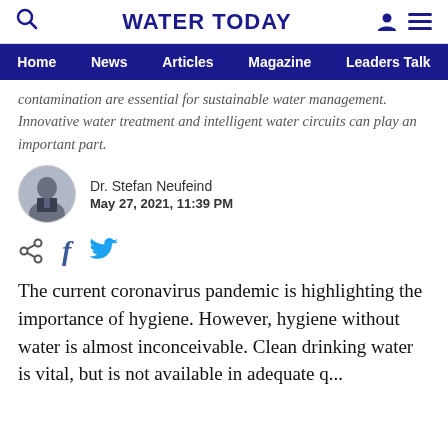WATER TODAY
Home  News  Articles  Magazine  Leaders Talk
contamination are essential for sustainable water management. Innovative water treatment and intelligent water circuits can play an important part.
Dr. Stefan Neufeind
May 27, 2021, 11:39 PM
The current coronavirus pandemic is highlighting the importance of hygiene. However, hygiene without water is almost inconceivable. Clean drinking water is vital, but is not available in adequate q...